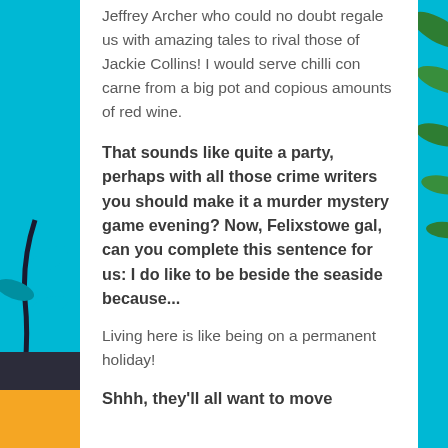Jeffrey Archer who could no doubt regale us with amazing tales to rival those of Jackie Collins! I would serve chilli con carne from a big pot and copious amounts of red wine.
That sounds like quite a party, perhaps with all those crime writers you should make it a murder mystery game evening? Now, Felixstowe gal, can you complete this sentence for us: I do like to be beside the seaside because...
Living here is like being on a permanent holiday!
Shhh, they'll all want to move